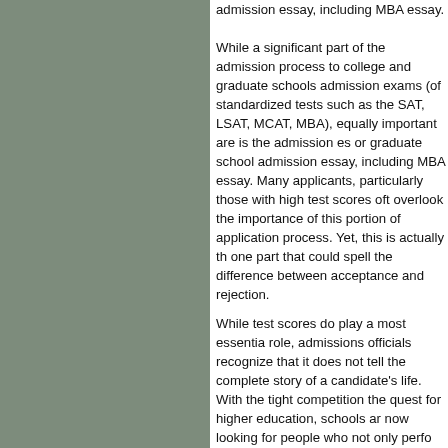admission essay, including MBA essay. While a significant part of the admission process to college and graduate schools admission exams (of standardized tests such as the SAT, LSAT, MCAT, MBA), equally important are is the admission es or graduate school admission essay, including MBA essay. Many applicants, particularly those with high test scores oft overlook the importance of this portion of application process. Yet, this is actually th one part that could spell the difference between acceptance and rejection.
While test scores do play a most essentia role, admissions officials recognize that it does not tell the complete story of a candidate's life. With the tight competition the quest for higher education, schools ar now looking for people who not only perfo well in entrance tests or achieve high gra point average, but they look for applicants who are interesting, diverse, and articulate as well. This will usually be reflected by a well-crafted Admission Essay or graduate school admission essay, including MBA essay.
So how do admission officers determine who these applicants are? Answer: By